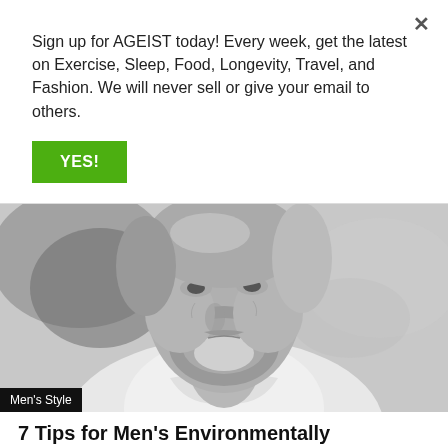Sign up for AGEIST today! Every week, get the latest on Exercise, Sleep, Food, Longevity, Travel, and Fashion. We will never sell or give your email to others.
YES!
[Figure (photo): Black and white close-up portrait of an older man with grey beard and silver hair, wearing a white shirt, looking upward, with a blurred outdoor background. A 'Men's Style' label appears in the lower left corner.]
7 Tips for Men's Environmentally Responsible Style